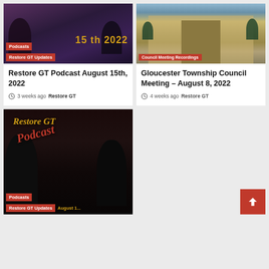[Figure (photo): Podcast studio recording with two people, dark background, showing 2022 year text overlay]
[Figure (photo): Gloucester Township government building exterior, brick facade with bushes]
Podcasts
Restore GT Updates
Council Meeting Recordings
Restore GT Podcast August 15th, 2022
3 weeks ago  Restore GT
Gloucester Township Council Meeting – August 8, 2022
4 weeks ago  Restore GT
[Figure (photo): Restore GT Podcast thumbnail with two hosts at microphones, yellow Restore GT text and red italic Podcast text, dark background]
Podcasts
Restore GT Updates  August 1...